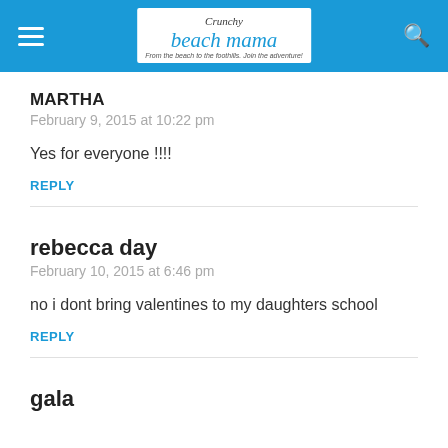Crunchy Beach Mama — From the beach to the foothills. Join the adventure!
MARTHA
February 9, 2015 at 10:22 pm
Yes for everyone !!!!
REPLY
rebecca day
February 10, 2015 at 6:46 pm
no i dont bring valentines to my daughters school
REPLY
gala